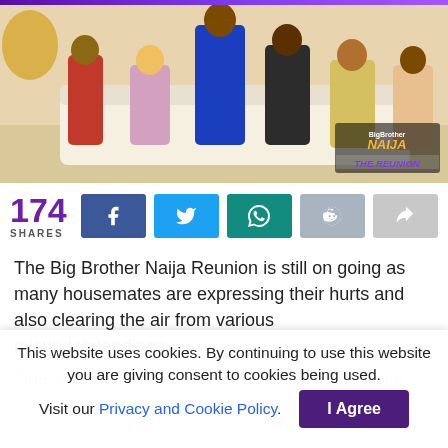[Figure (photo): Big Brother Naija Reunion show scene with housemates seated on white sofas, one person in blue outfit standing, people in red, floral, yellow outfits visible. BigBrother Naija The Reunion logo overlay in bottom right.]
174 SHARES
The Big Brother Naija Reunion is still on going as many housemates are expressing their hurts and also clearing the air from various misunderstandings.
One of those able to reconcile from their feud are
This website uses cookies. By continuing to use this website you are giving consent to cookies being used. Visit our Privacy and Cookie Policy. I Agree